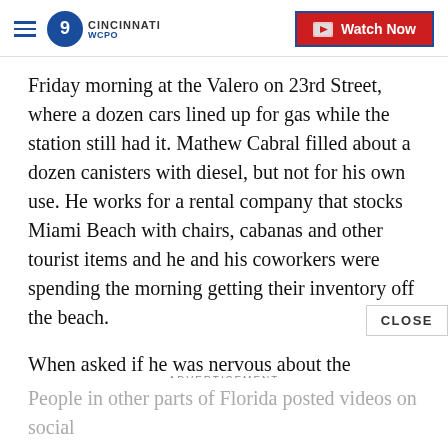WCPO CINCINNATI — Watch Now
Friday morning at the Valero on 23rd Street, where a dozen cars lined up for gas while the station still had it. Mathew Cabral filled about a dozen canisters with diesel, but not for his own use. He works for a rental company that stocks Miami Beach with chairs, cabanas and other tourist items and he and his coworkers were spending the morning getting their inventory off the beach.
When asked if he was nervous about the incoming storm, he said, "No, not really, not at Category 3. But if it's a Category 4, well, that's a bit different."
People in other parts of Florida posted videos on social